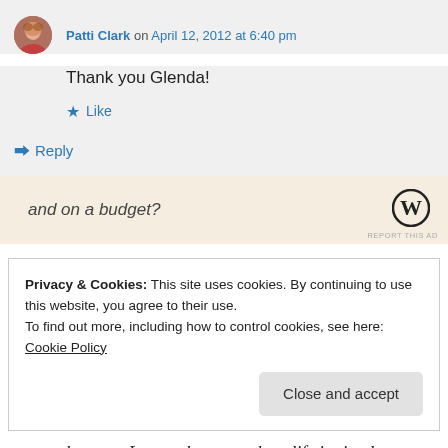Patti Clark on April 12, 2012 at 6:40 pm
Thank you Glenda!
Like
Reply
and on a budget?
REPORT THIS AD
Privacy & Cookies: This site uses cookies. By continuing to use this website, you agree to their use.
To find out more, including how to control cookies, see here: Cookie Policy
Close and accept
because I am so happy and my life is simple